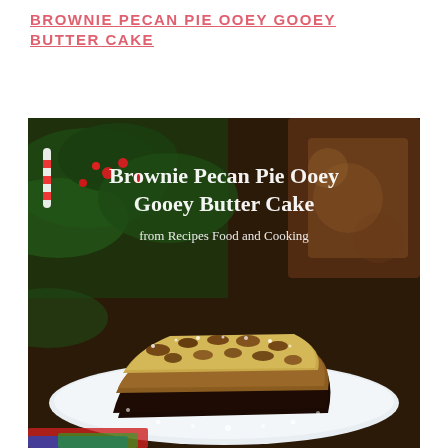BROWNIE PECAN PIE OOEY GOOEY BUTTER CAKE
[Figure (photo): A close-up photograph of a slice of Brownie Pecan Pie Ooey Gooey Butter Cake on a white plate dusted with powdered sugar, with Christmas tree branches and red berries in the background. Overlaid text reads: Brownie Pecan Pie Ooey Gooey Butter Cake from Recipes Food and Cooking.]